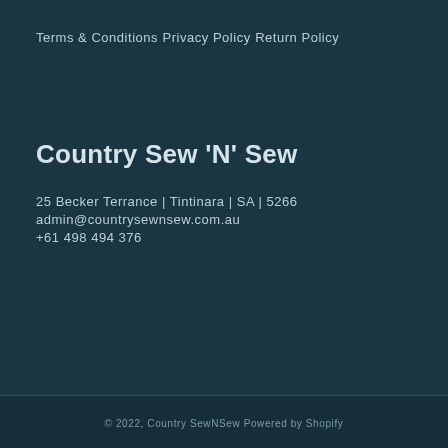Terms & Conditions
Privacy Policy
Return Policy
Country Sew 'N' Sew
25 Becker Terrance | Tintinara | SA | 5266
admin@countrysewnsew.com.au
+61 498 494 376
© 2022, Country SewNSew Powered by Shopify